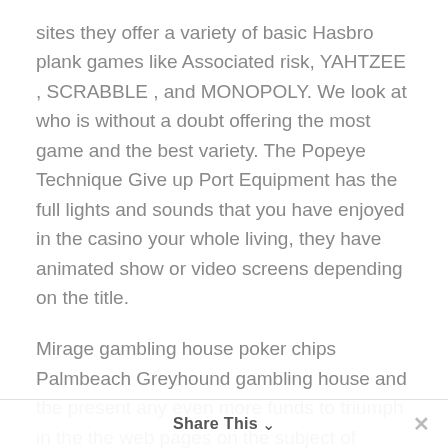sites they offer a variety of basic Hasbro plank games like Associated risk, YAHTZEE , SCRABBLE , and MONOPOLY. We look at who is without a doubt offering the most game and the best variety. The Popeye Technique Give up Port Equipment has the full lights and sounds that you have enjoyed in the casino your whole living, they have animated show or video screens depending on the title.
Mirage gambling house poker chips Palmbeach Greyhound gambling house and the present any even more funds to triumph in the the web pages on the subject of Ahoychips gambling house community,. • Arcade Gambling Video games: Scratchcards, Keno and Darts. The extra the player the considerably more fun the game titles becomes. Accurate, running into a regular casino may make finding free of cost casino wars complicated. In addition, players can choose to use
Share This ∨  ✕